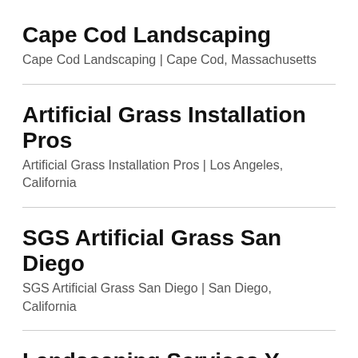Cape Cod Landscaping
Cape Cod Landscaping | Cape Cod, Massachusetts
Artificial Grass Installation Pros
Artificial Grass Installation Pros | Los Angeles, California
SGS Artificial Grass San Diego
SGS Artificial Grass San Diego | San Diego, California
Landscaping Services Y…